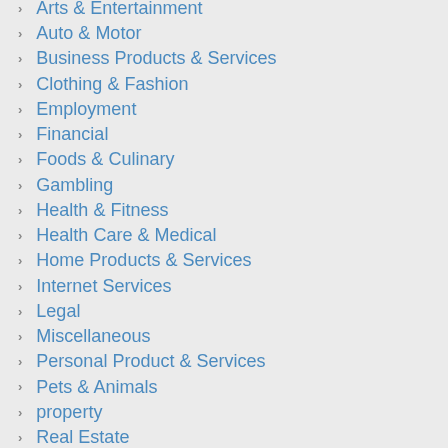Arts & Entertainment
Auto & Motor
Business Products & Services
Clothing & Fashion
Employment
Financial
Foods & Culinary
Gambling
Health & Fitness
Health Care & Medical
Home Products & Services
Internet Services
Legal
Miscellaneous
Personal Product & Services
Pets & Animals
property
Real Estate
Relationships